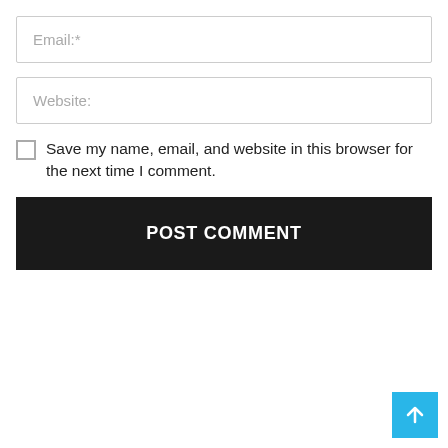Email:*
Website:
Save my name, email, and website in this browser for the next time I comment.
POST COMMENT